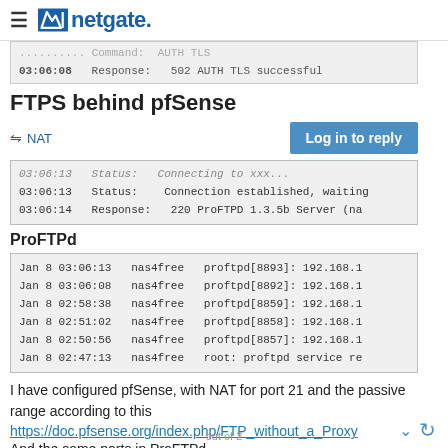netgate.
03:06:08   Response:   502 AUTH TLS successful
FTPS behind pfSense
≠ NAT   Log in to reply
03:06:13   Status:   Connecting to xxx...
03:06:13   Status:   Connection established, waiting
03:06:14   Response:   220 ProFTPD 1.3.5b Server (na
ProFTPd
Jan 8 03:06:13   nas4free   proftpd[8893]: 192.168.1
Jan 8 03:06:08   nas4free   proftpd[8892]: 192.168.1
Jan 8 02:58:38   nas4free   proftpd[8859]: 192.168.1
Jan 8 02:51:02   nas4free   proftpd[8858]: 192.168.1
Jan 8 02:50:56   nas4free   proftpd[8857]: 192.168.1
Jan 8 02:47:13   nas4free   root: proftpd service re
I have configured pfSense, with NAT for port 21 and the passive range according to this
https://doc.pfsense.org/index.php/FTP_without_a_Proxy
And the same ports in ProFTPd